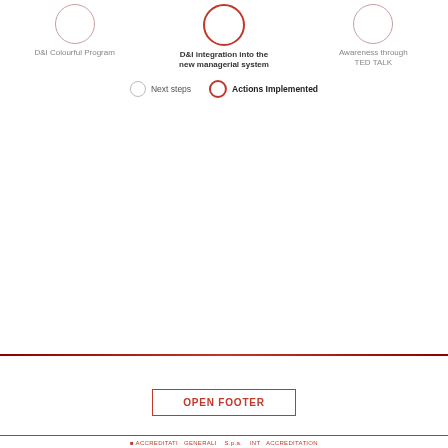[Figure (infographic): Three circular icon items in a row: 'D&I Colourful Program' (plain circle), 'D&I integration into the new managerial system' (bold text, red-outlined circle), 'Awareness through TED TALK' (plain circle). Below is a legend with 'Next steps' (grey circle) and 'Actions Implemented' (bold, red circle).]
OPEN FOOTER